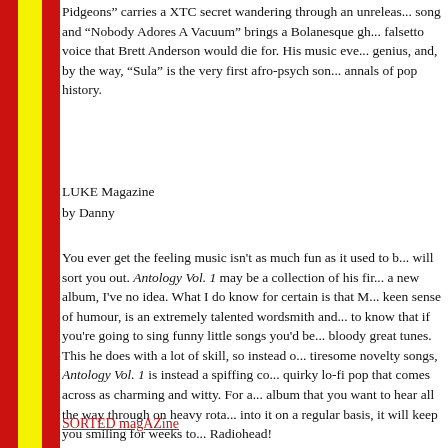Pidgeons carries a XTC secret wandering through an unrelea... song and "Nobody Adores A Vacuum" brings a Bolanesque gh... falsetto voice that Brett Anderson would die for. His music eve... genius, and, by the way, "Sula" is the very first afro-psych son... annals of pop history.
LUKE Magazine
by Danny
You ever get the feeling music isn't as much fun as it used to b... will sort you out. Antology Vol. 1 may be a collection of his fir... a new album, I've no idea. What I do know for certain is that M... keen sense of humour, is an extremely talented wordsmith and... to know that if you're going to sing funny little songs you'd be... bloody great tunes. This he does with a lot of skill, so instead o... tiresome novelty songs, Antology Vol. 1 is instead a spiffing co... quirky lo-fi pop that comes across as charming and witty. For a... album that you want to hear all the way through on heavy rota... into it on a regular basis, it will keep you smiling for weeks to... Radiohead!
SORTED magAZine